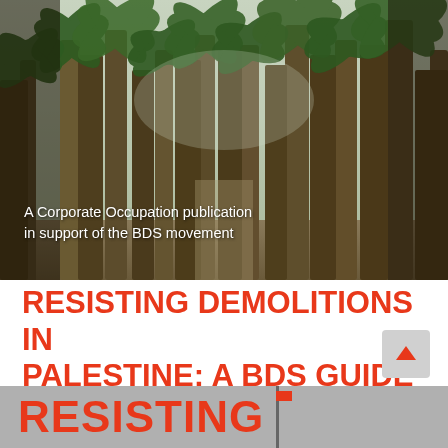[Figure (photo): Photograph of a palm tree grove/date palm plantation with tall palm trees and fronds, taken from ground level looking through the trees. Semi-arid landscape.]
A Corporate Occupation publication in support of the BDS movement
RESISTING DEMOLITIONS IN PALESTINE: A BDS GUIDE (2019)
[Figure (photo): Partial view of a document cover showing the word RESISTING in large red letters on a grey background with a flag visible]